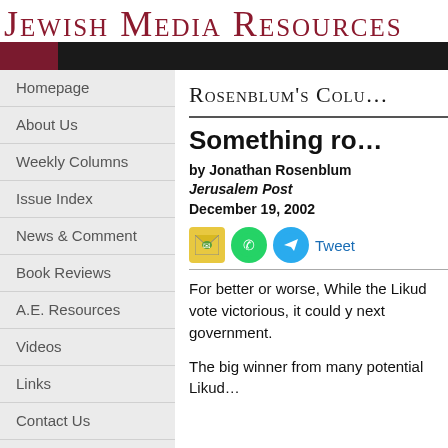Jewish Media Resources
Rosenblum's Column
Something ro...
by Jonathan Rosenblum
Jerusalem Post
December 19, 2002
Homepage
About Us
Weekly Columns
Issue Index
News & Comment
Book Reviews
A.E. Resources
Videos
Links
Contact Us
For better or worse, While the Likud vote victorious, it could y next government.
The big winner from many potential Likud